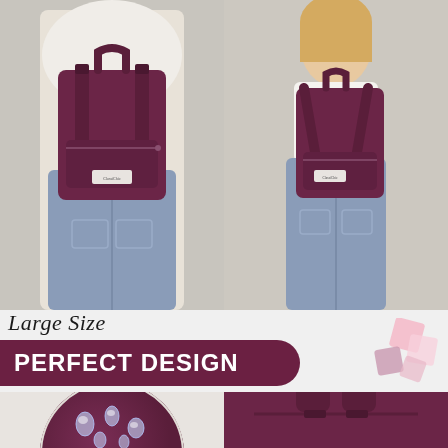[Figure (photo): Woman wearing a purple/burgundy backpack, viewed from behind, wearing white t-shirt and jeans. Left photo of two-up product comparison.]
[Figure (photo): Woman wearing a purple/burgundy backpack, viewed from behind/side, wearing white tank top and jeans. Right photo of two-up product comparison.]
Large Size
PERFECT DESIGN
[Figure (photo): Close-up circular crop of the purple backpack fabric showing water droplets beading on the surface, demonstrating water resistance.]
[Figure (photo): Close-up of purple backpack handle/top portion showing strap detail.]